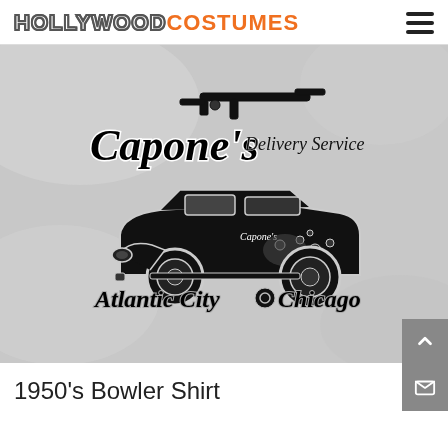HOLLYWOOD COSTUMES
[Figure (photo): Product photo of a white t-shirt with Capone's Delivery Service graphic showing a vintage 1930s gangster car with Tommy gun, bullet holes, and text reading 'Capone's Delivery Service, Atlantic City, Chicago']
1950's Bowler Shirt